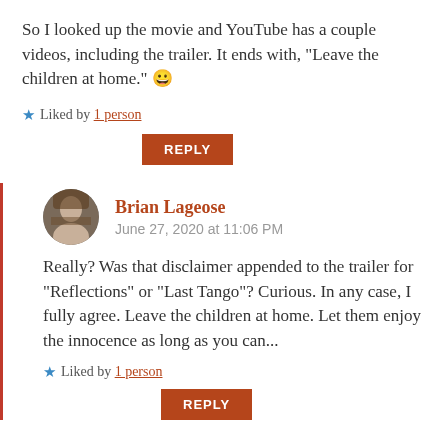So I looked up the movie and YouTube has a couple videos, including the trailer. It ends with, “Leave the children at home.” 😀
★ Liked by 1 person
REPLY
Brian Lageose
June 27, 2020 at 11:06 PM
Really? Was that disclaimer appended to the trailer for “Reflections” or “Last Tango”? Curious. In any case, I fully agree. Leave the children at home. Let them enjoy the innocence as long as you can...
★ Liked by 1 person
REPLY